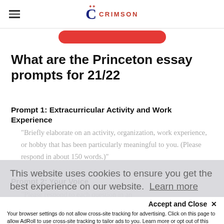Crimson Education — navigation header with logo
What are the Princeton essay prompts for 21/22
Prompt 1: Extracurricular Activity and Work Experience
"Briefly elaborate on an activity, organization, work experience, or hobby that has been particularly meaningful to you. (Please respond in about 150 words.)"
Prompt 2: Your Voice
"Please respond to each question in an
This website uses cookies to ensure you get the best experience on our website. Learn more
Accept and Close ✕
Your browser settings do not allow cross-site tracking for advertising. Click on this page to allow AdRoll to use cross-site tracking to tailor ads to you. Learn more or opt out of this AdRoll tracking by clicking here. This message only appears once.